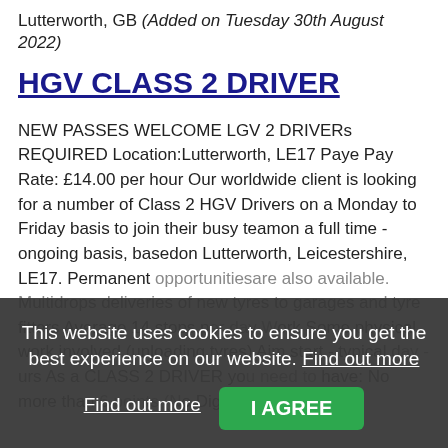Lutterworth, GB (Added on Tuesday 30th August 2022)
HGV CLASS 2 DRIVER
NEW PASSES WELCOME LGV 2 DRIVERs REQUIRED Location:Lutterworth, LE17 Paye Pay Rate: £14.00 per hour Our worldwide client is looking for a number of Class 2 HGV Drivers on a Monday to Friday basis to join their busy teamon a full time - ongoing basis, basedon Lutterworth, Leicestershire, LE17. Permanent opportunitiesare also available. Multidrops deliveries of new tyres to garages and tyre fitters Average 14 stops per day Work Some physical work involved (unloading tyres) Aim start - typical day - hours As a CLASS 2 DRIVER you need to have: No more than 6 points (No Digi
This website uses cookies to ensure you get the best experience on our website. Find out more
I AGREE